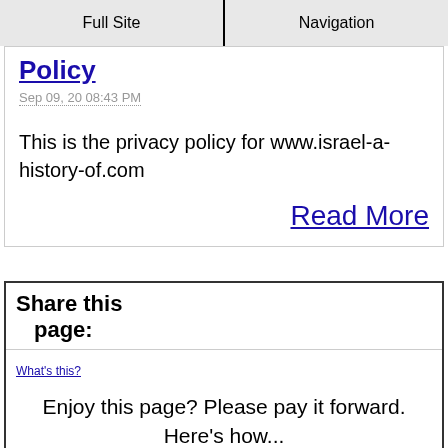Full Site | Navigation
Policy
Sep 09, 20 08:43 PM
This is the privacy policy for www.israel-a-history-of.com
Read More
Share this page:
What's this?
Enjoy this page? Please pay it forward. Here's how...